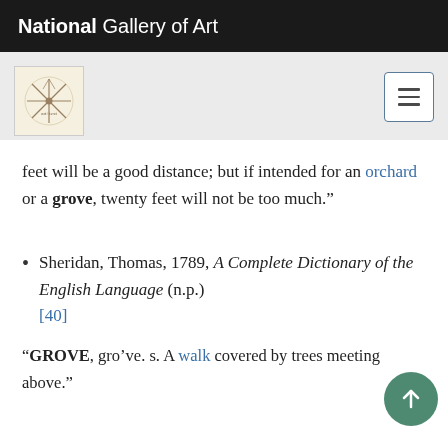National Gallery of Art
feet will be a good distance; but if intended for an orchard or a grove, twenty feet will not be too much.”
Sheridan, Thomas, 1789, A Complete Dictionary of the English Language (n.p.) [40]
“GROVE, gro’ve. s. A walk covered by trees meeting above.”